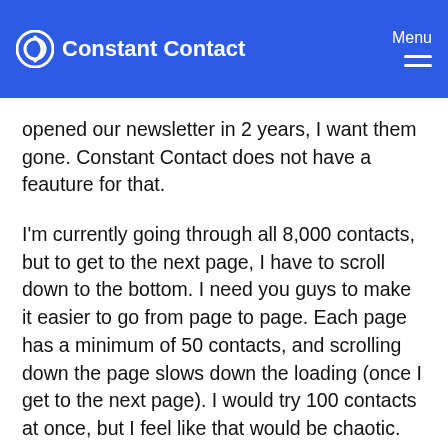Constant Contact — Menu
opened our newsletter in 2 years, I want them gone. Constant Contact does not have a feauture for that.
I'm currently going through all 8,000 contacts, but to get to the next page, I have to scroll down to the bottom. I need you guys to make it easier to go from page to page. Each page has a minimum of 50 contacts, and scrolling down the page slows down the loading (once I get to the next page). I would try 100 contacts at once, but I feel like that would be chaotic.
It's great that I can select a contact & it stays